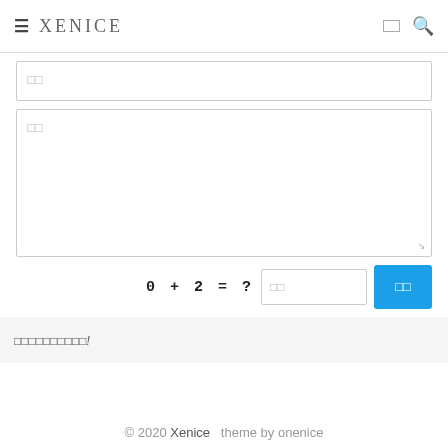≡  XENICE  □□  🔍
□□
□□
0 + 2 = ?  □□  □□
□□□□□□□□□□!
© 2020 Xenice   theme by onenice